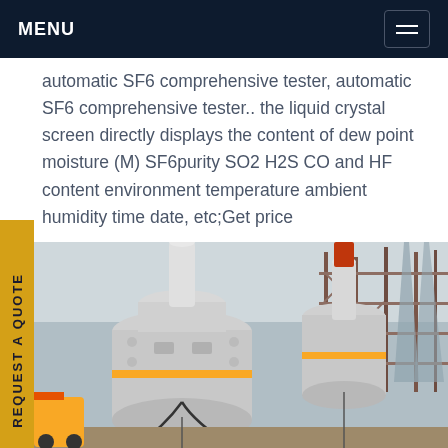MENU
automatic SF6 comprehensive tester, automatic SF6 comprehensive tester.. the liquid crystal screen directly displays the content of dew point moisture (M) SF6purity SO2 H2S CO and HF content environment temperature ambient humidity time date, etc;Get price
[Figure (photo): Industrial SF6 electrical equipment / transformer bushings at a power substation with scaffolding and transmission towers in the background]